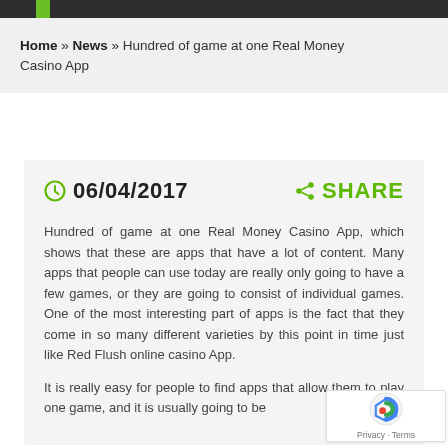Home » News » Hundred of game at one Real Money Casino App
06/04/2017   SHARE
Hundred of game at one Real Money Casino App, which shows that these are apps that have a lot of content. Many apps that people can use today are really only going to have a few games, or they are going to consist of individual games. One of the most interesting part of apps is the fact that they come in so many different varieties by this point in time just like Red Flush online casino App.
It is really easy for people to find apps that allow them to play one game, and it is usually going to be